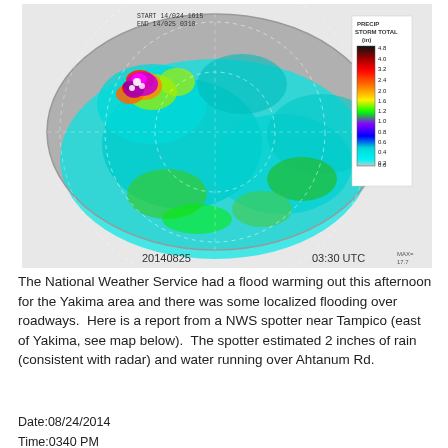[Figure (map): NEXRAD radar storm total precipitation map dated 20140825, 03:30 UTC, showing precipitation accumulation (in inches) over the Pacific Northwest region. Color scale from 0.0 to 4.8 inches with cyan/green/yellow/orange/red/purple colors. Max value shown as 17.7. Labels: START 14/024 16150, END 14/025 0310, PRECIP STORM TOTAL (in).]
The National Weather Service had a flood warming out this afternoon for the Yakima area and there was some localized flooding over roadways.  Here is a report from a NWS spotter near Tampico (east of Yakima, see map below).  The spotter estimated 2 inches of rain (consistent with radar) and water running over Ahtanum Rd.
Date:08/24/2014
Time:0340 PM